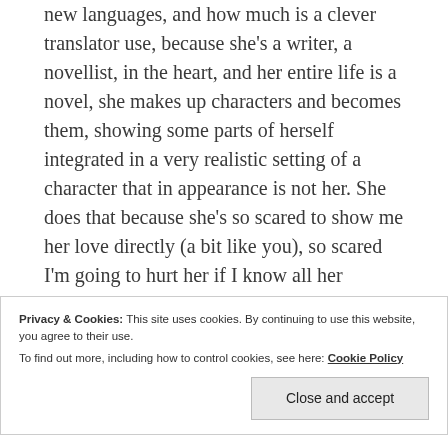new languages, and how much is a clever translator use, because she's a writer, a novellist, in the heart, and her entire life is a novel, she makes up characters and becomes them, showing some parts of herself integrated in a very realistic setting of a character that in appearance is not her. She does that because she's so scared to show me her love directly (a bit like you), so scared I'm going to hurt her if I know all her tenderness, all the beauty of her heart, and so she hides. She hides, and yet shows me herself in many
Privacy & Cookies: This site uses cookies. By continuing to use this website, you agree to their use.
To find out more, including how to control cookies, see here: Cookie Policy
limited than hers